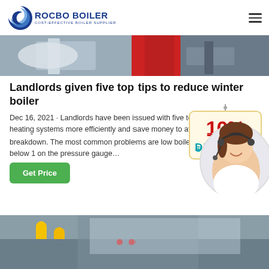[Figure (logo): ROCBO BOILER logo with crescent moon icon and tagline COST-EFFECTIVE BOILER SUPPLIER]
[Figure (photo): Banner photo showing industrial boiler equipment in red and grey tones]
Landlords given five top tips to reduce winter boiler
Dec 16, 2021 · Landlords have been issued with five top tips on how to use heating systems more efficiently and save money to avoid boiler breakdown. The most common problems are low boiler pressure (anyone below 1 on the pressure gauge…
[Figure (infographic): 10% DISCOUNT badge hanging sign in red and teal/blue colors]
[Figure (photo): Customer service agent woman wearing headset, smiling, in a circular crop]
[Figure (photo): Bottom banner showing industrial boiler interior with yellow pipes]